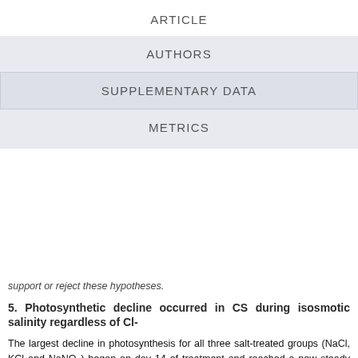ARTICLE
AUTHORS
SUPPLEMENTARY DATA
METRICS
support or reject these hypotheses.
5. Photosynthetic decline occurred in CS during isosmotic salinity regardless of Cl-
The largest decline in photosynthesis for all three salt-treated groups (NaCl, KCl and NaNO3) began on day 14 of treatment and reached a new steady state of decreased photosynthesis, relative to the control group, on day 20 (Figure 4A). This new steady-state photosynthesis for the three salt-treated groups remained steady for the rest of the experiment. While the decrease that occurred after two weeks of treatment could be an indication of ion toxicity, the occurrence in all three salt treatment groups diminishes the possibility that this decrease was Cl--specific. If the decreases in photosynthesis were Cl--specific such as has been previously suggested (Downton, 1977a; Downton, et al., 1990; Prior et al.,